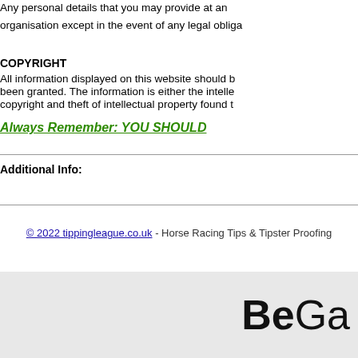Any personal details that you may provide at an organisation except in the event of any legal obliga
COPYRIGHT
All information displayed on this website should b been granted. The information is either the intelle copyright and theft of intellectual property found t
Always Remember: YOU SHOULD
Additional Info:
© 2022 tippingleague.co.uk - Horse Racing Tips & Tipster Proofing
[Figure (logo): BeGamble Aware logo showing 'BeGa' text in large bold font on grey background]